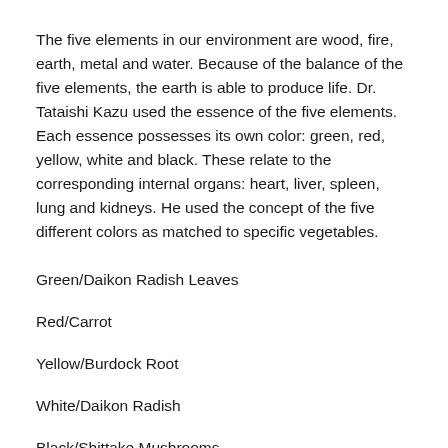The five elements in our environment are wood, fire, earth, metal and water. Because of the balance of the five elements, the earth is able to produce life. Dr. Tataishi Kazu used the essence of the five elements. Each essence possesses its own color: green, red, yellow, white and black. These relate to the corresponding internal organs: heart, liver, spleen, lung and kidneys. He used the concept of the five different colors as matched to specific vegetables.
Green/Daikon Radish Leaves
Red/Carrot
Yellow/Burdock Root
White/Daikon Radish
Black/Shittake Mushrooms